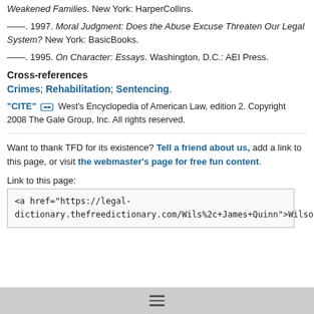Weakened Families. New York: HarperCollins.
——. 1997. Moral Judgment: Does the Abuse Excuse Threaten Our Legal System? New York: BasicBooks.
——. 1995. On Character: Essays. Washington, D.C.: AEI Press.
Cross-references
Crimes; Rehabilitation; Sentencing.
"CITE" [icon] West's Encyclopedia of American Law, edition 2. Copyright 2008 The Gale Group, Inc. All rights reserved.
Want to thank TFD for its existence? Tell a friend about us, add a link to this page, or visit the webmaster's page for free fun content.
Link to this page:
<a href="https://legal-dictionary.thefreedictionary.com/Wilson%2c+James+Quinn">Wilson,